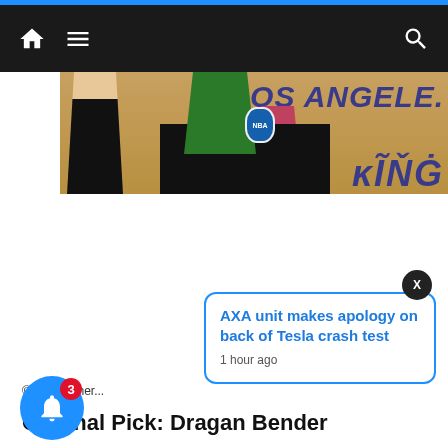Navigation bar with home, menu, and search icons
[Figure (photo): Partial photo of people in NBA basketball attire (Celtics green uniform, black shorts) in front of a Los Angeles Kings/Lakers banner backdrop]
[Figure (infographic): Push notification popup: 'AXA unit makes apology on back of Tesla crash test' with timestamp '1 hour ago'. Close (X) button in dark circle. Blue bell notification icon with red badge showing '3'.]
© Jon Klemer...
Original Pick: Dragan Bender